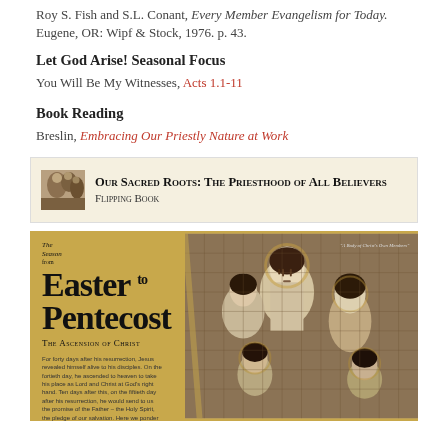Roy S. Fish and S.L. Conant, Every Member Evangelism for Today. Eugene, OR: Wipf & Stock, 1976. p. 43.
Let God Arise! Seasonal Focus
You Will Be My Witnesses, Acts 1.1-11
Book Reading
Breslin, Embracing Our Priestly Nature at Work
[Figure (illustration): Banner with mosaic image and text: OUR SACRED ROOTS: THE PRIESTHOOD OF ALL BELIEVERS FLIPPING BOOK on cream background]
[Figure (photo): Book cover: The Season From Easter to Pentecost – The Ascension of Christ, with mosaic artwork of figures on gold background]